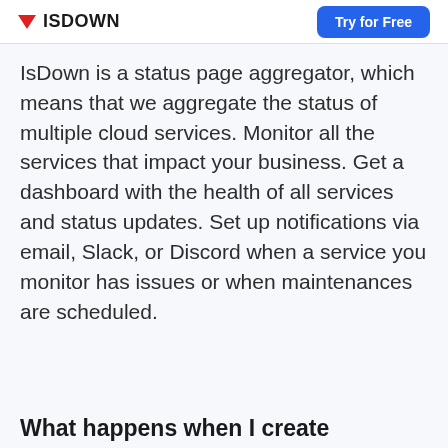ISDOWN | Try for Free
IsDown is a status page aggregator, which means that we aggregate the status of multiple cloud services. Monitor all the services that impact your business. Get a dashboard with the health of all services and status updates. Set up notifications via email, Slack, or Discord when a service you monitor has issues or when maintenances are scheduled.
What happens when I create